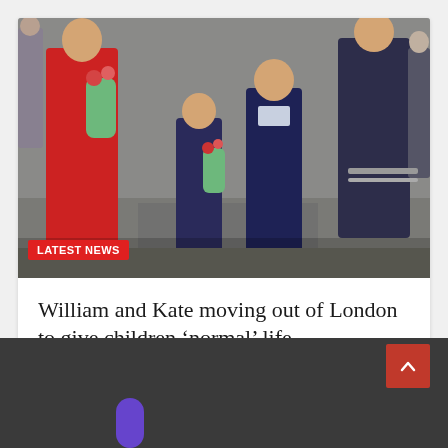[Figure (photo): Photo of William, Kate, and their children walking in formal attire. Kate wears a red coat and holds flowers. The children are dressed in navy. A crowd and barriers visible in background.]
LATEST NEWS
William and Kate moving out of London to give children ‘normal’ life
August 22, 2022 / takoon